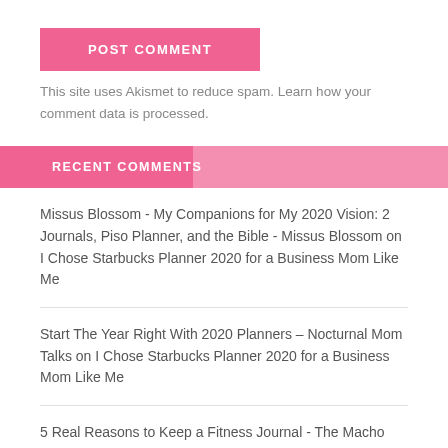POST COMMENT
This site uses Akismet to reduce spam. Learn how your comment data is processed.
RECENT COMMENTS
Missus Blossom - My Companions for My 2020 Vision: 2 Journals, Piso Planner, and the Bible - Missus Blossom on I Chose Starbucks Planner 2020 for a Business Mom Like Me
Start The Year Right With 2020 Planners – Nocturnal Mom Talks on I Chose Starbucks Planner 2020 for a Business Mom Like Me
5 Real Reasons to Keep a Fitness Journal - The Macho Mom on I Chose Starbucks Planner 2020 for a Business Mom Like Me
Analie Beja on #BeHealthyInsideAndOut with WATSONS